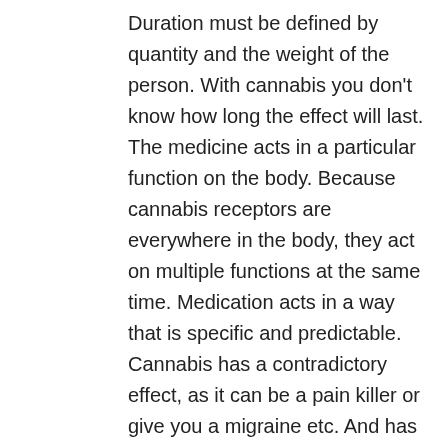Duration must be defined by quantity and the weight of the person. With cannabis you don't know how long the effect will last. The medicine acts in a particular function on the body. Because cannabis receptors are everywhere in the body, they act on multiple functions at the same time. Medication acts in a way that is specific and predictable. Cannabis has a contradictory effect, as it can be a pain killer or give you a migraine etc. And has unpredictable effect- not the same on everyone. It depends on the quality, quantity etc. It can be concluded that the effects are non specific and non-predicable. Cannabis does not meet any of the criteria of a medication. What about hemp products, CBD etc. We need to define what is a cannabinoid. It is a family of molecules that is present in